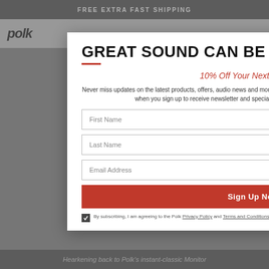FREE EXTRA FAST SHIPPING
GREAT SOUND CAN BE YOURS
10% Off Your Next Purchase
Never miss updates on the latest products, offers, audio news and more. Plus, enjoy 10% off your next purchase of $250 or more when you sign up to receive newsletter and special offers. It's time to expect great sound.
First Name
Last Name
Email Address
Sign Up Now
By subscribing, I am agreeing to the Polk Privacy Policy and Terms and Conditions
Hearkening back to Polk's instant-classic Monitor